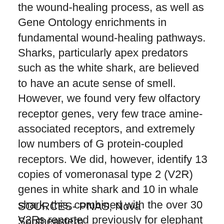the wound-healing process, as well as Gene Ontology enrichments in fundamental wound-healing pathways. Sharks, particularly apex predators such as the white shark, are believed to have an acute sense of smell. However, we found very few olfactory receptor genes, very few trace amine-associated receptors, and extremely low numbers of G protein-coupled receptors. We did, however, identify 13 copies of vomeronasal type 2 (V2R) genes in white shark and 10 in whale shark; this, combined with the over 30 V2Rs reported previously for elephant shark, suggests this gene family may underlie the keen odorant reception of chondrichthyans.
SOURCES- PNAS, Nova Southeastern